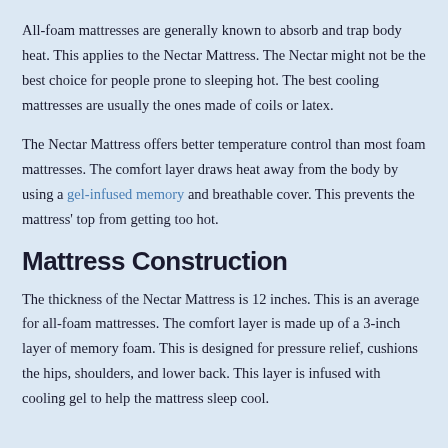All-foam mattresses are generally known to absorb and trap body heat. This applies to the Nectar Mattress. The Nectar might not be the best choice for people prone to sleeping hot. The best cooling mattresses are usually the ones made of coils or latex.
The Nectar Mattress offers better temperature control than most foam mattresses. The comfort layer draws heat away from the body by using a gel-infused memory and breathable cover. This prevents the mattress' top from getting too hot.
Mattress Construction
The thickness of the Nectar Mattress is 12 inches. This is an average for all-foam mattresses. The comfort layer is made up of a 3-inch layer of memory foam. This is designed for pressure relief, cushions the hips, shoulders, and lower back. This layer is infused with cooling gel to help the mattress sleep cool.